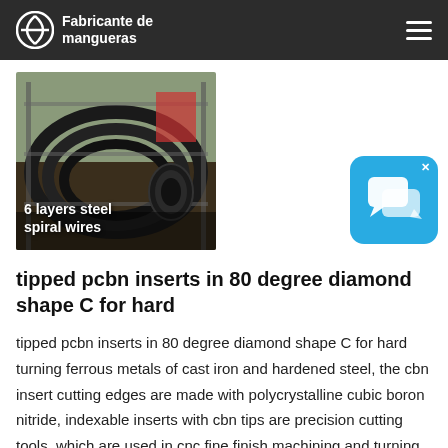Fabricante de mangueras
[Figure (photo): Industrial hoses coiled on metal rack, labeled '6 layers steel spiral wires']
[Figure (illustration): Blue chat widget icon with speech bubbles and close button]
tipped pcbn inserts in 80 degree diamond shape C for hard
tipped pcbn inserts in 80 degree diamond shape C for hard turning ferrous metals of cast iron and hardened steel, the cbn insert cutting edges are made with polycrystalline cubic boron nitride, indexable inserts with cbn tips are precision cutting tools, which are used in cnc fine finish machining and turning roller, bearing, pumps,